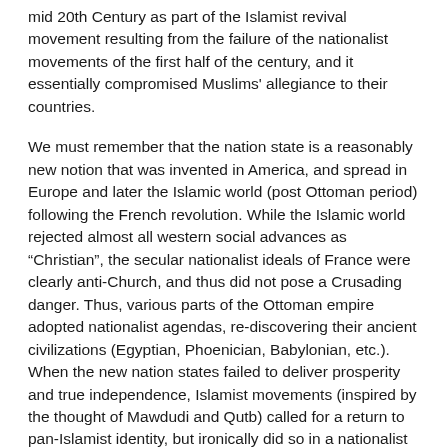mid 20th Century as part of the Islamist revival movement resulting from the failure of the nationalist movements of the first half of the century, and it essentially compromised Muslims' allegiance to their countries.
We must remember that the nation state is a reasonably new notion that was invented in America, and spread in Europe and later the Islamic world (post Ottoman period) following the French revolution. While the Islamic world rejected almost all western social advances as “Christian”, the secular nationalist ideals of France were clearly anti-Church, and thus did not pose a Crusading danger. Thus, various parts of the Ottoman empire adopted nationalist agendas, re-discovering their ancient civilizations (Egyptian, Phoenician, Babylonian, etc.). When the new nation states failed to deliver prosperity and true independence, Islamist movements (inspired by the thought of Mawdudi and Qutb) called for a return to pan-Islamist identity, but ironically did so in a nationalist way.
This nationalist re-interpretation of Islamic civilizations is anachronistic, since clearly the nation state only developed